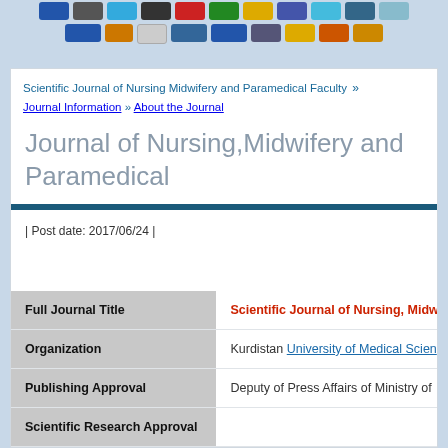[Figure (other): Two rows of colorful icon buttons/badges at the top of the page on a light blue background]
Scientific Journal of Nursing Midwifery and Paramedical Faculty » Journal Information » About the Journal
Journal of Nursing,Midwifery and Paramedical
| Post date: 2017/06/24 |
|  |  |
| --- | --- |
| Full Journal Title | Scientific Journal of Nursing, Midwi… |
| Organization | Kurdistan University of Medical Scien… |
| Publishing Approval | Deputy of Press Affairs of Ministry of… |
| Scientific Research Approval |  |